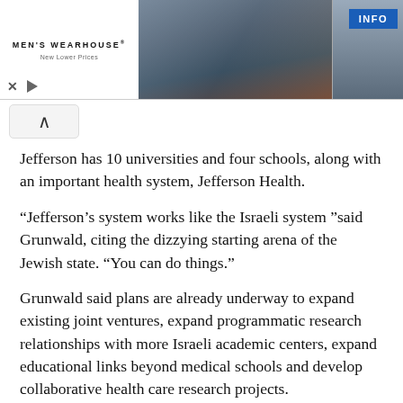[Figure (screenshot): Men's Wearhouse advertisement banner with logo on left, couple in formal wear in center, man in suit on right, blue INFO button, and X/play controls at bottom left.]
Jefferson has 10 universities and four schools, along with an important health system, Jefferson Health.
"Jefferson's system works like the Israeli system "said Grunwald, citing the dizzying starting arena of the Jewish state. "You can do things."
Grunwald said plans are already underway to expand existing joint ventures, expand programmatic research relationships with more Israeli academic centers, expand educational links beyond medical schools and develop collaborative health care research projects.
]